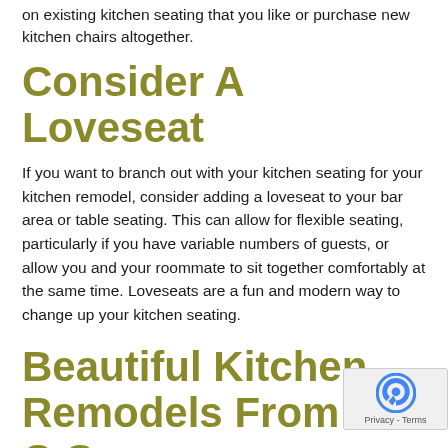on existing kitchen seating that you like or purchase new kitchen chairs altogether.
Consider A Loveseat
If you want to branch out with your kitchen seating for your kitchen remodel, consider adding a loveseat to your bar area or table seating. This can allow for flexible seating, particularly if you have variable numbers of guests, or allow you and your roommate to sit together comfortably at the same time. Loveseats are a fun and modern way to change up your kitchen seating.
Beautiful Kitchen Remodels From C.C. Dietz, Inc.
If you are ready to upgrade your kitchen with a fresh re... contact C.C. Dietz today! We can help with every step of the